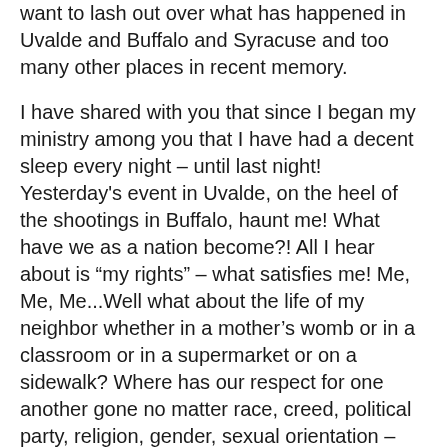want to lash out over what has happened in Uvalde and Buffalo and Syracuse and too many other places in recent memory.
I have shared with you that since I began my ministry among you that I have had a decent sleep every night – until last night! Yesterday's event in Uvalde, on the heel of the shootings in Buffalo, haunt me! What have we as a nation become?! All I hear about is “my rights” – what satisfies me! Me, Me, Me...Well what about the life of my neighbor whether in a mother's womb or in a classroom or in a supermarket or on a sidewalk? Where has our respect for one another gone no matter race, creed, political party, religion, gender, sexual orientation – young, old, or in between? Where has our genuine concern for the person next to us on the road of life gone to?!